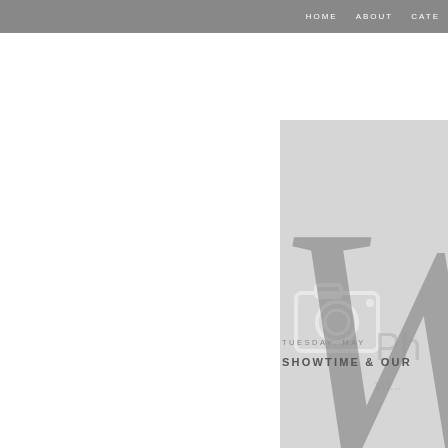HOME   ABOUT   CATE
[Figure (photo): Light gray placeholder image with a white camera icon watermark and a large cursive letter W overlapping, partially cropped on the right side]
TUESDAY, MAY
SHOWTIME & OUR